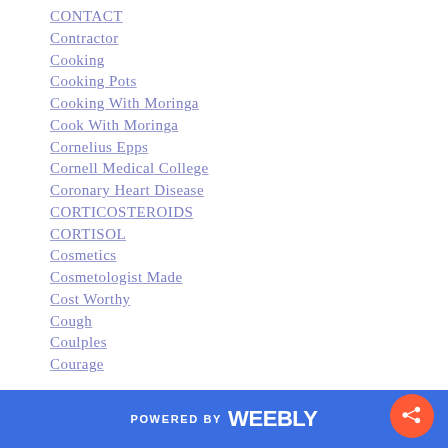CONTACT
Contractor
Cooking
Cooking Pots
Cooking With Moringa
Cook With Moringa
Cornelius Epps
Cornell Medical College
Coronary Heart Disease
CORTICOSTEROIDS
CORTISOL
Cosmetics
Cosmetologist Made
Cost Worthy
Cough
Coulples
Courage
POWERED BY weebly